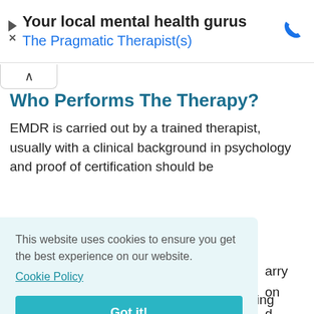Your local mental health gurus — The Pragmatic Therapist(s)
Who Performs The Therapy?
EMDR is carried out by a trained therapist, usually with a clinical background in psychology and proof of certification should be
This website uses cookies to ensure you get the best experience on our website. Cookie Policy Got it!
A session normally costs £35-£70 depending